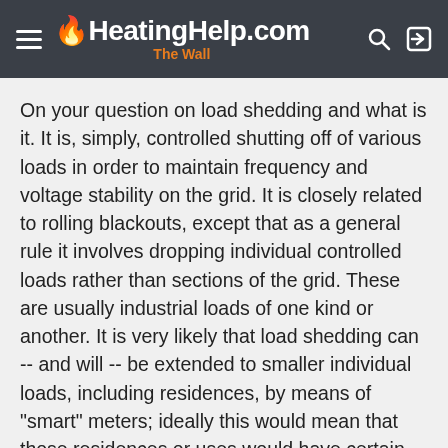HeatingHelp.com The Wall
On your question on load shedding and what is it. It is, simply, controlled shutting off of various loads in order to maintain frequency and voltage stability on the grid. It is closely related to rolling blackouts, except that as a general rule it involves dropping individual controlled loads rather than sections of the grid. These are usually industrial loads of one kind or another. It is very likely that load shedding can -- and will -- be extended to smaller individual loads, including residences, by means of "smart" meters; ideally this would mean that those residences or uses would have certain non-essential, but large, loads switched remotely as needed. This would include such things as air conditioners, heat pumps, electric vehicle chargers (level 2 and 3), and probably hot water and other forms of resistance heating.